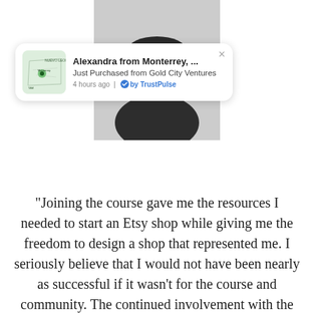[Figure (photo): Circular profile photo of a person in a dark shirt, cropped to show head and shoulders, positioned at top center of page]
[Figure (infographic): TrustPulse social proof notification popup with map thumbnail of Monterrey/Nuevo León area. Shows: 'Alexandra from Monterrey, ...' 'Just Purchased from Gold City Ventures' '4 hours ago | by TrustPulse' with a close X button]
"Joining the course gave me the resources I needed to start an Etsy shop while giving me the freedom to design a shop that represented me. I seriously believe that I would not have been nearly as successful if it wasn't for the course and community. The continued involvement with the Gold City Ventures community has helped me to find areas of growth I would not have otherwise had"